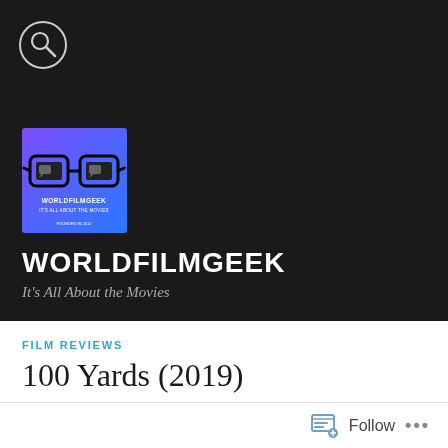[Figure (logo): Search icon (magnifying glass) in a circle on dark background]
[Figure (logo): WorldFilmGeek logo: purple/blue square with cartoon glasses illustration, text 'WORLDFILMGEEK IT'S ALL ABOUT THE MOVIES FOUNDED IN 2012']
WORLDFILMGEEK
It's All About the Movies
FILM REVIEWS
100 Yards (2019)
[Figure (photo): Partial photo of a person wearing a dark beanie hat, looking upward, with green foliage in the background]
Follow ...